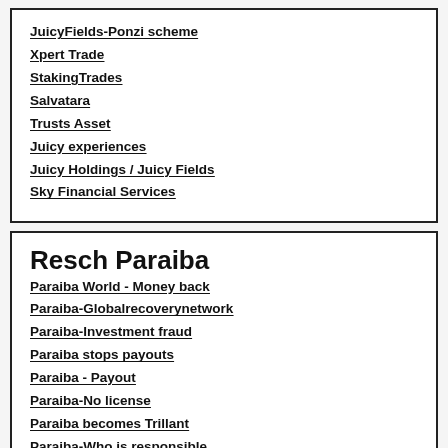JuicyFields-Ponzi scheme
Xpert Trade
StakingTrades
Salvatara
Trusts Asset
Juicy experiences
Juicy Holdings / Juicy Fields
Sky Financial Services
Resch Paraiba
Paraiba World - Money back
Paraiba-Globalrecoverynetwork
Paraiba-Investment fraud
Paraiba stops payouts
Paraiba - Payout
Paraiba-No license
Paraiba becomes Trillant
Paraiba-Who is responsible